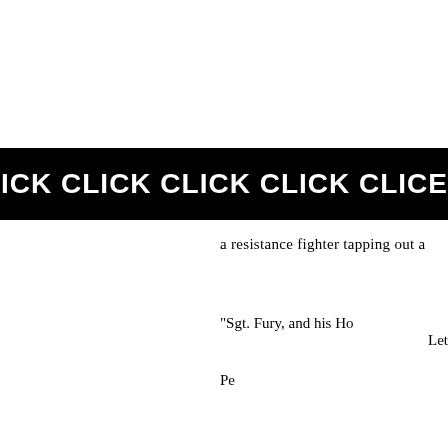CLICK CLICK CLICK CLICK
a resistance fighter tapping out a
"Sgt. Fury, and his Ho
Let

Pe